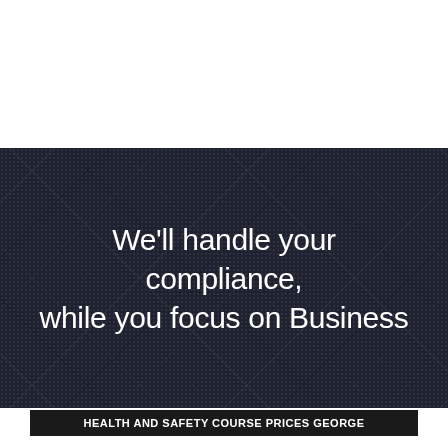[Figure (illustration): Dark tartan/plaid patterned background banner with white text overlay reading 'We'll handle your compliance, while you focus on Business']
We'll handle your compliance, while you focus on Business
HEALTH AND SAFETY COURSE PRICES GEORGE